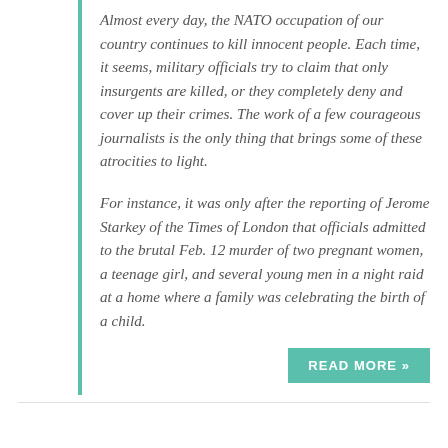Almost every day, the NATO occupation of our country continues to kill innocent people. Each time, it seems, military officials try to claim that only insurgents are killed, or they completely deny and cover up their crimes. The work of a few courageous journalists is the only thing that brings some of these atrocities to light.
For instance, it was only after the reporting of Jerome Starkey of the Times of London that officials admitted to the brutal Feb. 12 murder of two pregnant women, a teenage girl, and several young men in a night raid at a home where a family was celebrating the birth of a child.
READ MORE »